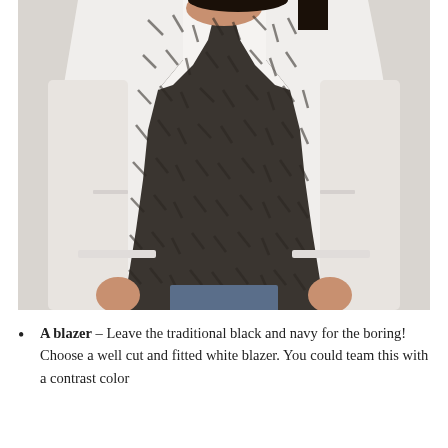[Figure (photo): A woman wearing a white fitted blazer over a dark grey/black patterned top with abstract print, paired with blue jeans. The photo is cropped from the shoulders to the hips, showing the torso. Background is light grey/cream.]
A blazer – Leave the traditional black and navy for the boring! Choose a well cut and fitted white blazer. You could team this with a contrast color